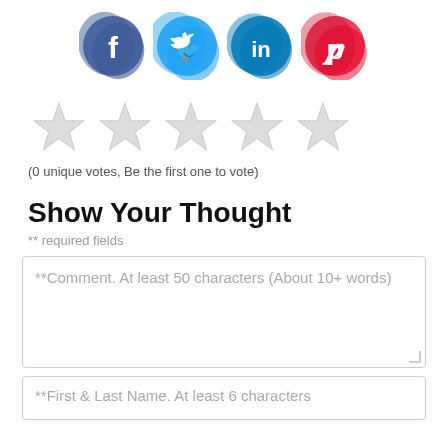[Figure (illustration): Four social media icon blobs: Facebook (dark blue), Twitter (light blue), LinkedIn (medium blue), Pinterest (red)]
[Figure (other): Five empty star rating icons in light gray]
(0 unique votes, Be the first one to vote)
Show Your Thought
** required fields
**Comment. At least 50 characters (About 10+ words)
**First & Last Name. At least 6 characters